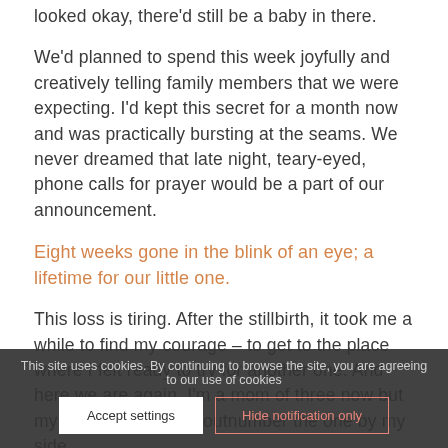We'd planned to spend this week joyfully and creatively telling family members that we were expecting. I'd kept this secret for a month now and was practically bursting at the seams. We never dreamed that late night, teary-eyed, phone calls for prayer would be a part of our announcement.
Eight weeks gone in the blink of an eye; a lifetime for our little one.
This loss is tiring. After the stillbirth, it took me a while to find my courage – to get to the place where I felt ready to try for another one. And here we are again. I'm a mom of three now but my babies in heaven outnumber the one by my side.
The an... week apart. I'm thankful for the coinciding and
This site uses cookies. By continuing to browse the site, you are agreeing to our use of cookies